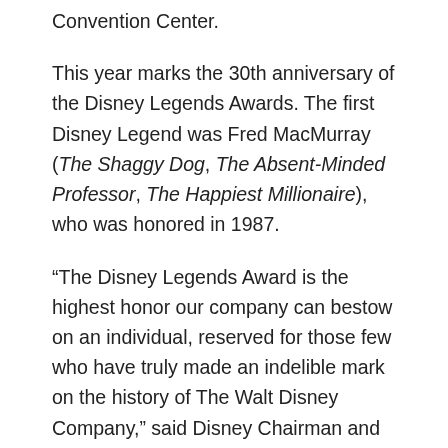Convention Center.
This year marks the 30th anniversary of the Disney Legends Awards. The first Disney Legend was Fred MacMurray (The Shaggy Dog, The Absent-Minded Professor, The Happiest Millionaire), who was honored in 1987.
“The Disney Legends Award is the highest honor our company can bestow on an individual, reserved for those few who have truly made an indelible mark on the history of The Walt Disney Company,” said Disney Chairman and CEO Bob Iger. “It’s a celebration of talent, a recognition of achievement, and an expression of gratitude to the men and women whose work has significantly contributed to Disney’s enduring reputation for creative excellence.”